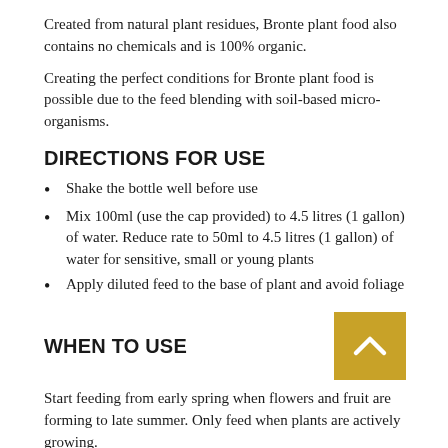Created from natural plant residues, Bronte plant food also contains no chemicals and is 100% organic.
Creating the perfect conditions for Bronte plant food is possible due to the feed blending with soil-based micro-organisms.
DIRECTIONS FOR USE
Shake the bottle well before use
Mix 100ml (use the cap provided) to 4.5 litres (1 gallon) of water. Reduce rate to 50ml to 4.5 litres (1 gallon) of water for sensitive, small or young plants
Apply diluted feed to the base of plant and avoid foliage
WHEN TO USE
Start feeding from early spring when flowers and fruit are forming to late summer. Only feed when plants are actively growing.